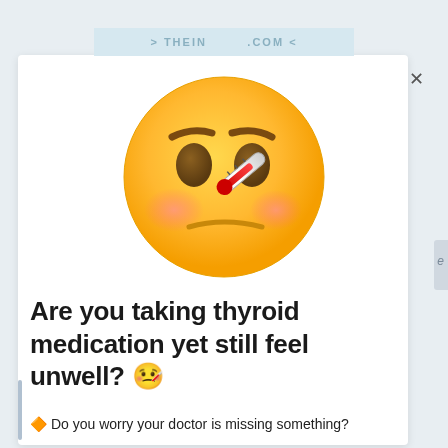>THEIN[...].COM<
[Figure (illustration): Large sick face emoji with thermometer in mouth, flushed red cheeks, worried brown eyebrows, and a mercury thermometer angled from the mouth. Yellow face on white card background.]
Are you taking thyroid medication yet still feel unwell? 🤒
🔶 Do you worry your doctor is missing something?